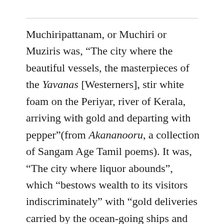Muchiripattanam, or Muchiri or Muziris was, “The city where the beautiful vessels, the masterpieces of the Yavanas [Westerners], stir white foam on the Periyar, river of Kerala, arriving with gold and departing with pepper”(from Akananooru, a collection of Sangam Age Tamil poems). It was, “The city where liquor abounds”, which “bestows wealth to its visitors indiscriminately” with “gold deliveries carried by the ocean-going ships and brought to the river bank by local boats”. It was, according to Pliny the Elder, “The first emporium of India”. The city